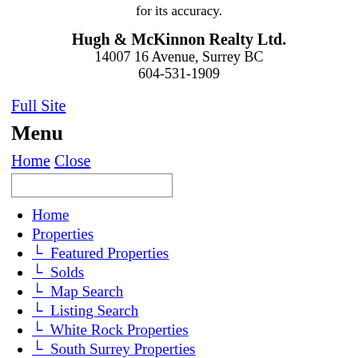for its accuracy.
Hugh & McKinnon Realty Ltd.
14007 16 Avenue, Surrey BC
604-531-1909
Full Site
Menu
Home Close
Home
Properties
└ Featured Properties
└ Solds
└ Map Search
└ Listing Search
└ White Rock Properties
└ South Surrey Properties
└ Langley Properties
Resources